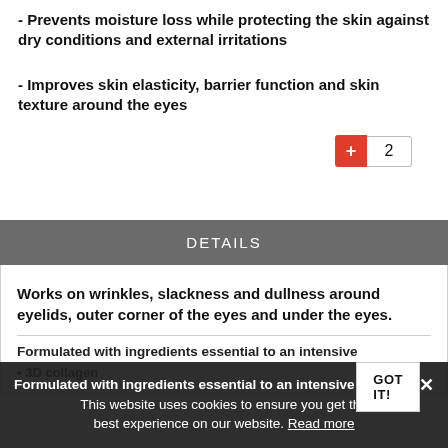- Prevents moisture loss while protecting the skin against dry conditions and external irritations
- Improves skin elasticity, barrier function and skin texture around the eyes
DETAILS
Works on wrinkles, slackness and dullness around eyelids, outer corner of the eyes and under the eyes.
Formulated with ingredients essential to an intensive
• 3D collagen
This website uses cookies to ensure you get the best experience on our website. Read more